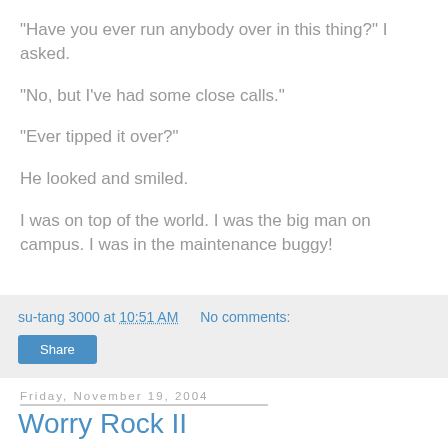"Have you ever run anybody over in this thing?" I asked.
"No, but I've had some close calls."
"Ever tipped it over?"
He looked and smiled.
I was on top of the world. I was the big man on campus. I was in the maintenance buggy!
su-tang 3000 at 10:51 AM   No comments:
Share
Friday, November 19, 2004
Worry Rock II